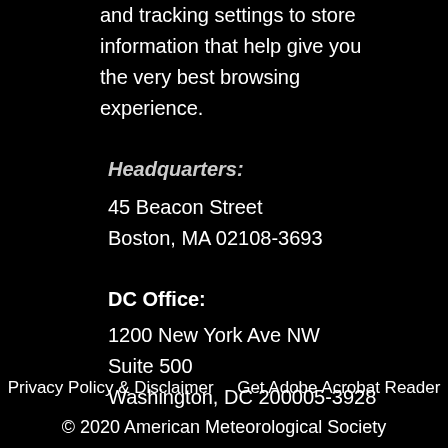and tracking settings to store information that help give you the very best browsing experience.
Headquarters:
45 Beacon Street
Boston, MA 02108-3693
DC Office:
1200 New York Ave NW
Suite 500
Washington, DC 200005-3928
Privacy Policy & Disclaimer    Get Adobe Acrobat Reader
© 2020 American Meteorological Society